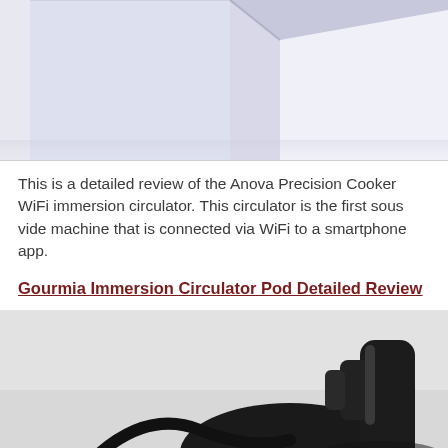[Figure (photo): Partial view of a white/light blue box or appliance on a light background, showing the bottom corner of the box.]
This is a detailed review of the Anova Precision Cooker WiFi immersion circulator. This circulator is the first sous vide machine that is connected via WiFi to a smartphone app.
Gourmia Immersion Circulator Pod Detailed Review
[Figure (photo): Photo of a black Gourmia immersion circulator pod device shown partially, with its clamp/clip mechanism visible on a light grey background.]